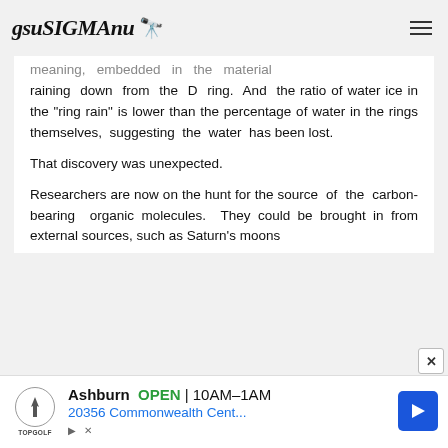gsuSIGMAnu [logo]
meaning, embedded in the material raining down from the D ring. And the ratio of water ice in the “ring rain” is lower than the percentage of water in the rings themselves, suggesting the water has been lost.
That discovery was unexpected.
Researchers are now on the hunt for the source of the carbon-bearing organic molecules. They could be brought in from external sources, such as Saturn’s moons
[Figure (other): Advertisement banner for TopGolf Ashburn showing OPEN 10AM-1AM, 20356 Commonwealth Cent... with navigation arrow icon]